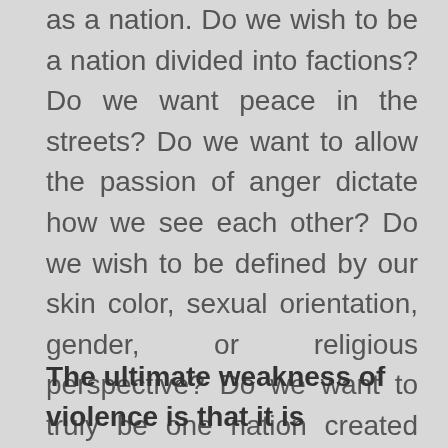as a nation. Do we wish to be a nation divided into factions?  Do we want peace in the streets?  Do we want to allow the passion of anger dictate how we see each other?  Do we wish to be defined by our skin color, sexual orientation, gender, or religious perspective?  Do we want to truly be one nation created from many different people?  Today, I hope we will take a moment and contemplate how each of us wishes to create the future of our nation.  Today, I hope we turn our thoughts to kindness, peacefulness, and generosity of heart. Today, let us think on the words of Dr. Martin Luther King Jr. :
The ultimate weakness of violence is that it is